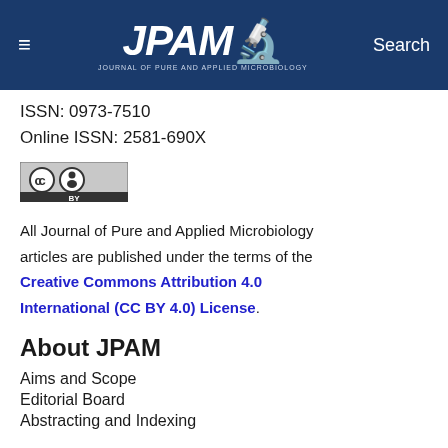≡  JPAM  Search
ISSN: 0973-7510
Online ISSN: 2581-690X
[Figure (logo): Creative Commons CC BY license badge]
All Journal of Pure and Applied Microbiology articles are published under the terms of the Creative Commons Attribution 4.0 International (CC BY 4.0) License.
About JPAM
Aims and Scope
Editorial Board
Abstracting and Indexing